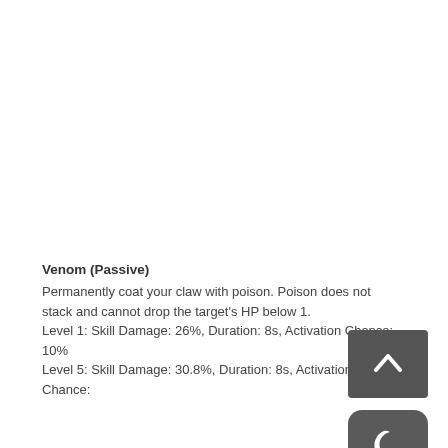Venom (Passive)
Permanently coat your claw with poison. Poison does not stack and cannot drop the target’s HP below 1.
Level 1: Skill Damage: 26%, Duration: 8s, Activation Chance: 10%
Level 5: Skill Damage: 30.8%, Duration: 8s, Activation Chance:
[Figure (illustration): Dark grey square button with an upward-pointing chevron arrow icon (scroll to top button)]
[Figure (illustration): Dark grey rounded square button with a crescent moon icon (night mode button)]